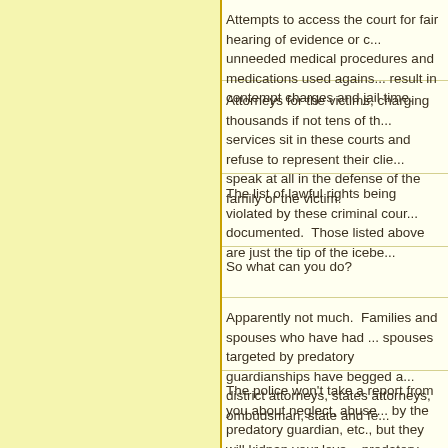Attempts to access the court for fair hearing of evidence or c... unneeded medical procedures and medications used agains... result in contempt charges and jail time.
Attorneys for the victims, charging thousands if not tens of th... services sit in these courts and refuse to represent their clie... speak at all in the defense of the family or the victim.
The list of lawful rights being violated by these criminal cour... documented. Those listed above are just the tip of the icebe...
So what can you do?
Apparently not much. Families and spouses who have had ... spouses targeted by predatory guardianships have begged a... district attorneys, states attorneys, ombudsman, state and fe...
The police won't take a report from you about neglect, abuse... by the predatory guardian, etc., but they will kidnap your love... predatory guardians' prison of choice. Then you will be told t... department and complain. They send you to the district atto... you to the states attorney general who informs you that you... police.
And the courts officials? They...